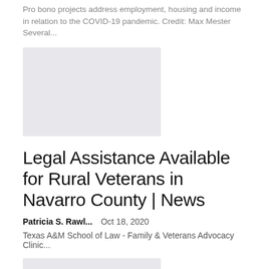Pro bono projects address employment, housing and income in relation to the COVID-19 pandemic. Credit: Max Mester Several...
[Figure (photo): Gray placeholder image related to pro bono projects article]
Legal Assistance Available for Rural Veterans in Navarro County | News
Patricia S. Rawl...   Oct 18, 2020
Texas A&M School of Law - Family & Veterans Advocacy Clinic...
[Figure (photo): Gray placeholder image for the next article]